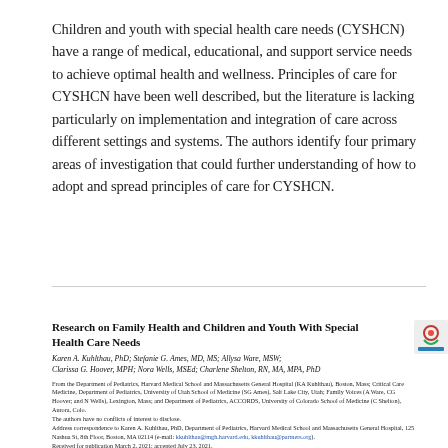Children and youth with special health care needs (CYSHCN) have a range of medical, educational, and support service needs to achieve optimal health and wellness. Principles of care for CYSHCN have been well described, but the literature is lacking particularly on implementation and integration of care across different settings and systems. The authors identify four primary areas of investigation that could further understanding of how to adopt and spread principles of care for CYSHCN.
Research on Family Health and Children and Youth With Special Health Care Needs
Karen A. Kuhlthau, PhD; Stefanie G. Ames, MD, MS; Allysa Ware, MSW; Clarissa G. Hoover, MPH; Nora Wells, MSEd; Charlene Shelton, RN, MA, MPA, PhD
From the Department of Pediatrics, Harvard Medical School and Massachusetts General Hospital (KA Kuhlthau), Boston, Mass; Critical Care Medicine, Department of Pediatrics, University of Utah School of Medicine (SG Ames), Salt Lake City, Utah; Family Voices (A Ware, CG Hoover; and N Wells), Lexington, Mass; and Department of Pediatrics, ACCORDS, University of Colorado School of Medicine (C Shelton), Aurora, Colo. The authors have no conflicts of interest to disclose. Address correspondence to Karen A. Kuhlthau, PhD, Department of Pediatrics, Harvard Medical School and Massachusetts General Hospital, 125 Nashua St, 8th Floor, Boston, MA 02114 (e-mail: kkuhlthau@mgh.harvard.edu, kkuhlthau@partners.org). Received for publication March 2, 2021; accepted July 23, 2021.